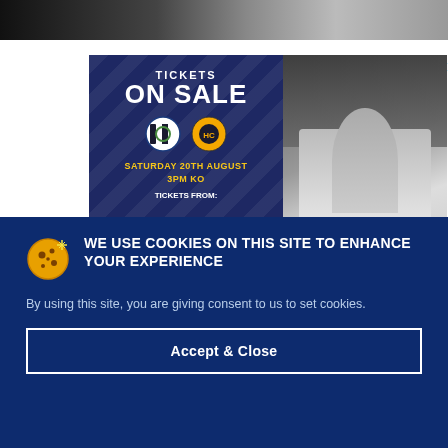[Figure (photo): Top partial image strip showing dark background, likely a sports or website header image]
[Figure (photo): Ticket on-sale advertisement for West Brom vs Hull City, Saturday 20th August, 3PM KO. Dark navy background with diagonal pattern, team badges shown.]
[Figure (photo): Sports photograph showing football players celebrating, crowd in background]
WE USE COOKIES ON THIS SITE TO ENHANCE YOUR EXPERIENCE
By using this site, you are giving consent to us to set cookies.
Accept & Close